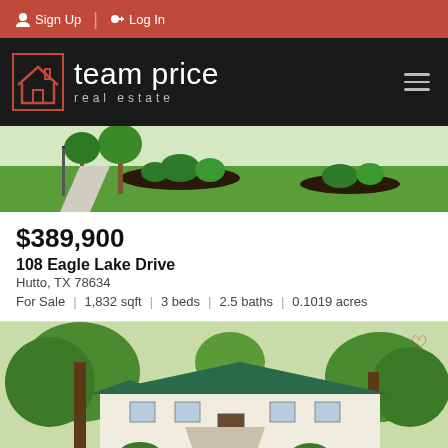Sign Up | Log In
[Figure (logo): Team Price Real Estate logo with house icon on dark background]
[Figure (photo): Exterior yard photo showing green lawn and landscaping]
$389,900
108 Eagle Lake Drive
Hutto, TX 78634
For Sale | 1,832 sqft | 3 beds | 2.5 baths | 0.1019 acres
[Figure (photo): Exterior photo of house with large trees in front]